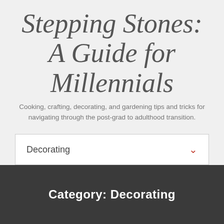Stepping Stones: A Guide for Millennials
Cooking, crafting, decorating, and gardening tips and tricks for navigating through the post-grad to adulthood transition.
Decorating
Category: Decorating